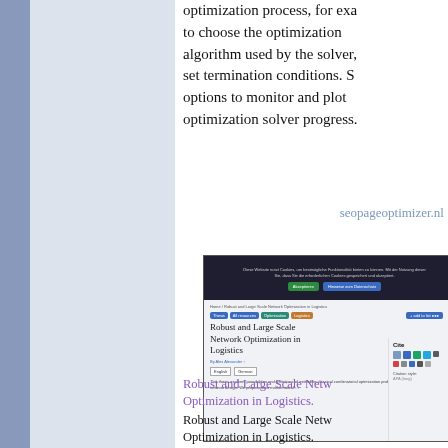optimization process, for example to choose the optimization algorithm used by the solver, set termination conditions. Se options to monitor and plot optimization solver progress.
seopageoptimizer.nl
[Figure (screenshot): Screenshot of a webpage showing an academic paper titled 'Robust and Large Scale Network Optimization in Logistics' with a cookie consent banner at the top, tags, author information, abstract excerpt, and a Cite panel on the right side.]
Robust and Large Scale Network Optimization in Logistics.
Robust and Large Scale Network Optimization in Logistics. Dissertation Fr, 23. 2018 Alle